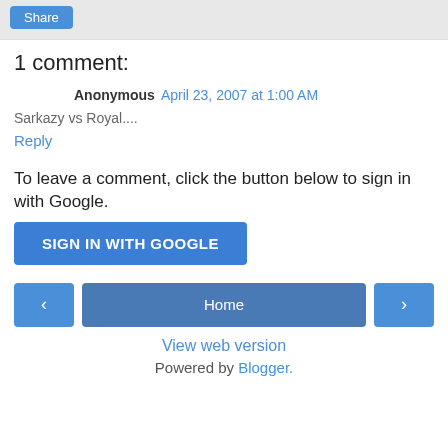[Figure (other): Share button in gray header bar]
1 comment:
Anonymous  April 23, 2007 at 1:00 AM
Sarkazy vs Royal....
Reply
To leave a comment, click the button below to sign in with Google.
[Figure (other): SIGN IN WITH GOOGLE button]
[Figure (other): Navigation bar with left arrow, Home button, and right arrow]
View web version
Powered by Blogger.